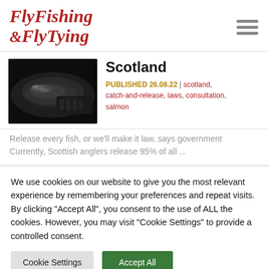Fly Fishing & Fly Tying
[Figure (photo): Dark close-up photo of a fish (salmon) being held, wet and glistening]
Scotland
PUBLISHED 26.08.22 | scotland, catch-and-release, laws, consultation, salmon
Release every fish, or we'll make it law, says government Currently, Scottish anglers release 95% of all ...
We use cookies on our website to give you the most relevant experience by remembering your preferences and repeat visits. By clicking "Accept All", you consent to the use of ALL the cookies. However, you may visit "Cookie Settings" to provide a controlled consent.
Cookie Settings | Accept All